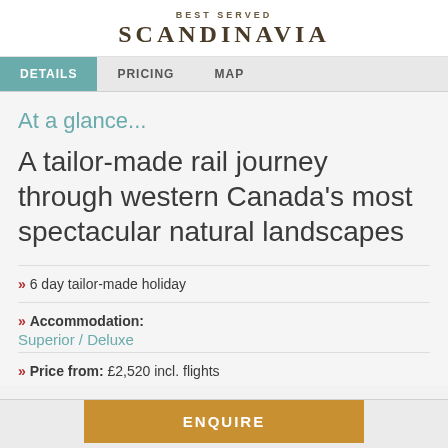BEST SERVED SCANDINAVIA
DETAILS | PRICING | MAP
At a glance...
A tailor-made rail journey through western Canada's most spectacular natural landscapes
» 6 day tailor-made holiday
» Accommodation: Superior / Deluxe
» Price from: £2,520 incl. flights
ENQUIRE